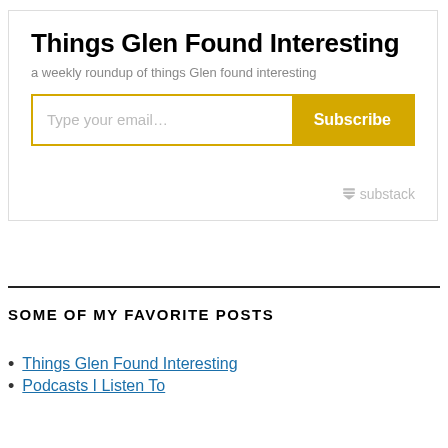Things Glen Found Interesting
a weekly roundup of things Glen found interesting
[Figure (screenshot): Email subscription widget with text input 'Type your email...' and a yellow 'Subscribe' button, with Substack logo at bottom right]
SOME OF MY FAVORITE POSTS
Things Glen Found Interesting
Podcasts I Listen To